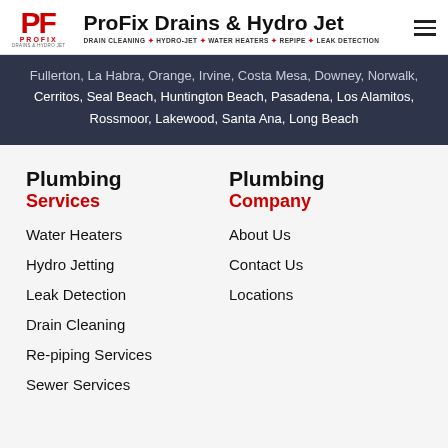ProFix Drains & Hydro Jet — DRAIN CLEANING ✦ HYDRO-JET ✦ WATER HEATERS ✦ REPIPE ✦ LEAK DETECTION
Fullerton, La Habra, Orange, Irvine, Costa Mesa, Downey, Norwalk, Cerritos, Seal Beach, Huntington Beach, Pasadena, Los Alamitos, Rossmoor, Lakewood, Santa Ana, Long Beach
Plumbing Services
Water Heaters
Hydro Jetting
Leak Detection
Drain Cleaning
Re-piping Services
Sewer Services
Plumbing Company
About Us
Contact Us
Locations